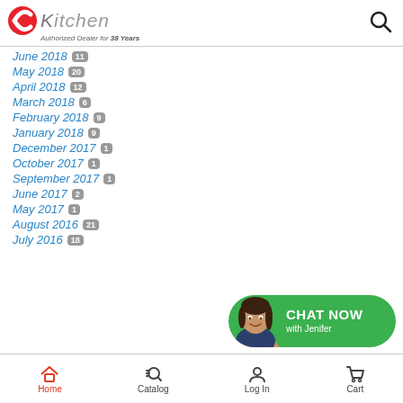CKitchen Authorized Dealer for 38 Years
June 2018 11
May 2018 20
April 2018 12
March 2018 6
February 2018 9
January 2018 9
December 2017 1
October 2017 1
September 2017 1
June 2017 2
May 2017 1
August 2016 21
July 2016 18
[Figure (illustration): Chat Now with Jenifer widget - green rounded button with female avatar]
Home  Catalog  Log In  Cart